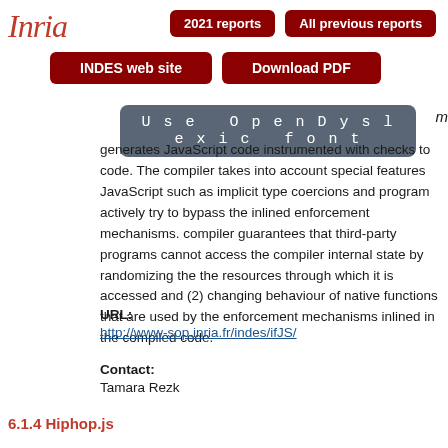Inria | 2021 reports | All previous reports | INDES web site | Download PDF
[Figure (other): Use OpenDyslexic font button in dark gray]
generates JavaScript code instrumented with checks to code. The compiler takes into account special features JavaScript such as implicit type coercions and program actively try to bypass the inlined enforcement mechanisms. compiler guarantees that third-party programs cannot access the compiler internal state by randomizing the the resources through which it is accessed and (2) changing behaviour of native functions that are used by the enforcement mechanisms inlined in the compiled code.
URL:
http://www-sop.inria.fr/indes/ifJS/
Contact:
Tamara Rezk
6.1.4 Hiphop.js